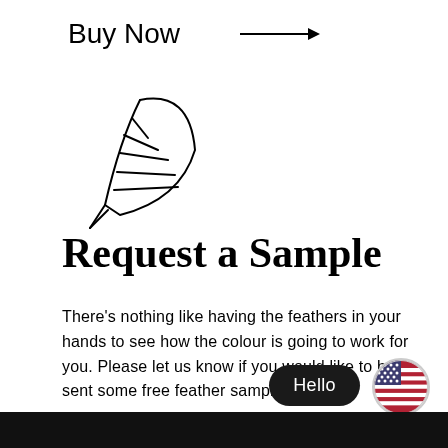Buy Now →
[Figure (illustration): Feather/quill icon outline drawing]
Request a Sample
There's nothing like having the feathers in your hands to see how the colour is going to work for you. Please let us know if you would like to be sent some free feather samples.
Request here →
[Figure (other): Hello chat button with US flag circle icon and dark bottom bar]